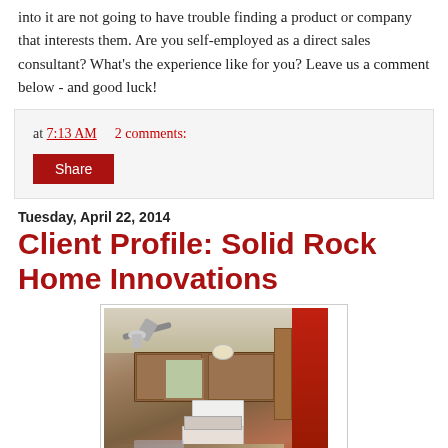into it are not going to have trouble finding a product or company that interests them. Are you self-employed as a direct sales consultant? What's the experience like for you? Leave us a comment below - and good luck!
at 7:13 AM   2 comments:
Share
Tuesday, April 22, 2014
Client Profile: Solid Rock Home Innovations
[Figure (photo): Interior kitchen photo showing wooden cabinets, white microwave and stove/range, ceiling fan with light, and a red refrigerator or cabinet on the right side.]